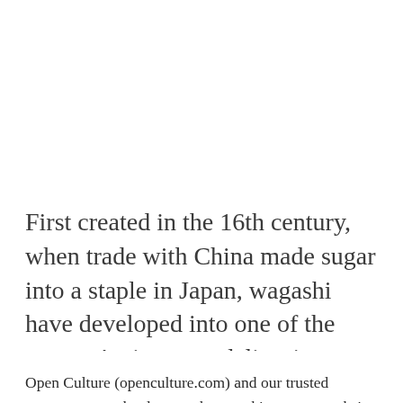First created in the 16th century, when trade with China made sugar into a staple in Japan, wagashi have developed into one of the country's signature delicacies, appreciated for their taste but beloved for
Open Culture (openculture.com) and our trusted partners use technology such as cookies on our website to personalise ads, support social media features, and analyze our traffic. Please click below to consent to the use of this technology while browsing our site.
Cookie settings
ACCEPT